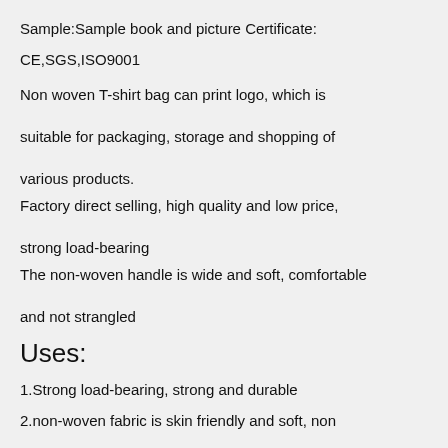Sample:Sample book and picture Certificate:
CE,SGS,ISO9001
Non woven T-shirt bag can print logo, which is suitable for packaging, storage and shopping of various products.
Factory direct selling, high quality and low price, strong load-bearing
The non-woven handle is wide and soft, comfortable and not strangled
Uses:
1.Strong load-bearing, strong and durable
2.non-woven fabric is skin friendly and soft, non irritating and does not pollute the environment